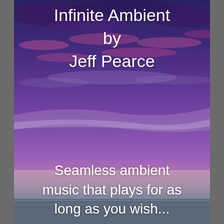[Figure (photo): A dramatic twilight sky with purple, pink, and blue clouds over a calm flat horizon with water below. The sky transitions from deep blue-purple at top to warm lavender and pink tones at the horizon.]
Infinite Ambient by Jeff Pearce
Seamless ambient music that plays for as long as you wish...